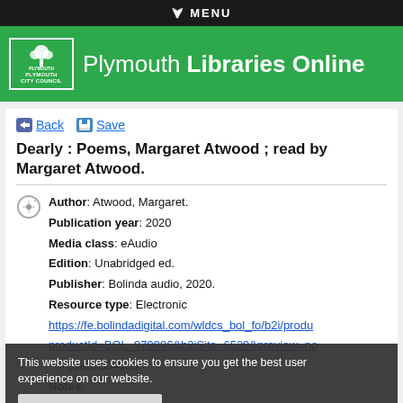▼ MENU
[Figure (logo): Plymouth City Council logo with tree icon]
Plymouth Libraries Online
◀ Back   💾 Save
Dearly : Poems, Margaret Atwood ; read by Margaret Atwood.
| Field | Value |
| --- | --- |
| Author | Atwood, Margaret. |
| Publication year | 2020 |
| Media class | eAudio |
| Edition | Unabridged ed. |
| Publisher | Bolinda audio, 2020. |
| Resource type | Electronic |
| URL | https://fe.bolindadigital.com/wldcs_bol_fo/b2i/productId=BOL_979996&b2iSite=6529&preview=no |
| ISBN | 9781867504009 |
| Notes | Downloadable eAudiobook. Non fiction. |
This website uses cookies to ensure you get the best user experience on our website.
Accept and continue
Read our cookie guidelines